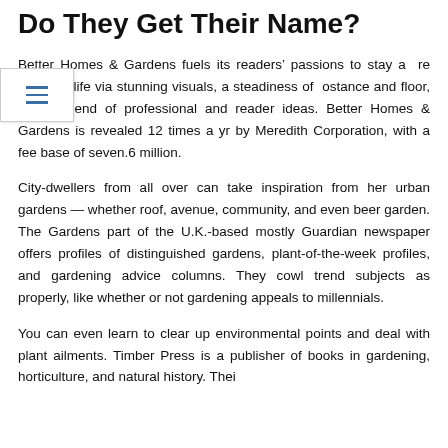Do They Get Their Name?
Better Homes & Gardens fuels its readers' passions to stay a re colourful life via stunning visuals, a steadiness of ostance and floor, and a blend of professional and reader ideas. Better Homes & Gardens is revealed 12 times a yr by Meredith Corporation, with a fee base of seven.6 million.
City-dwellers from all over can take inspiration from her urban gardens — whether roof, avenue, community, and even beer garden. The Gardens part of the U.K.-based mostly Guardian newspaper offers profiles of distinguished gardens, plant-of-the-week profiles, and gardening advice columns. They cowl trend subjects as properly, like whether or not gardening appeals to millennials.
You can even learn to clear up environmental points and deal with plant ailments. Timber Press is a publisher of books in gardening, horticulture, and natural history. Their